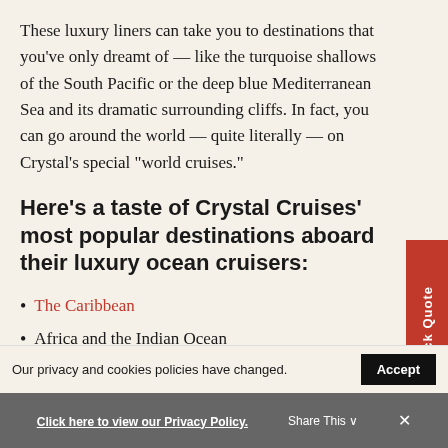These luxury liners can take you to destinations that you've only dreamt of — like the turquoise shallows of the South Pacific or the deep blue Mediterranean Sea and its dramatic surrounding cliffs. In fact, you can go around the world — quite literally — on Crystal's special “world cruises.”
Here's a taste of Crystal Cruises' most popular destinations aboard their luxury ocean cruisers:
The Caribbean
Africa and the Indian Ocean
Our privacy and cookies policies have changed.
Click here to view our Privacy Policy.
Share This